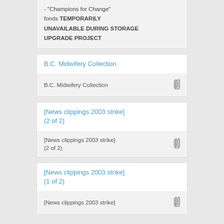- "Champions for Change" fonds TEMPORARILY UNAVAILABLE DURING STORAGE UPGRADE PROJECT
B.C. Midwifery Collection
B.C. Midwifery Collection
[News clippings 2003 strike] (2 of 2)
[News clippings 2003 strike] (2 of 2)
[News clippings 2003 strike] (1 of 2)
[News clippings 2003 strike]